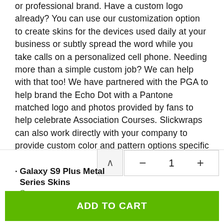or professional brand. Have a custom logo already? You can use our customization option to create skins for the devices used daily at your business or subtly spread the word while you take calls on a personalized cell phone. Needing more than a simple custom job? We can help with that too! We have partnered with the PGA to help brand the Echo Dot with a Pantone matched logo and photos provided by fans to help celebrate Association Courses. Slickwraps can also work directly with your company to provide custom color and pattern options specific to the brand. Working with drones is becoming more common and wrapping a drone in a highly visible protective skin lets everyone know who is on the job, partnering with Plymouth Rock Assurance we created multiple branded skins for different drones to ensure a uniform look. We also offer a B2B wrapping service for our skins, once the custom design has been approved devices can be mailed to our HQ
Galaxy S9 Plus Metal Series Skins
Copper